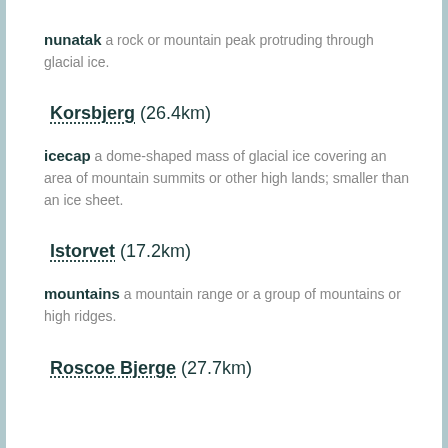nunatak a rock or mountain peak protruding through glacial ice.
Korsbjerg (26.4km)
icecap a dome-shaped mass of glacial ice covering an area of mountain summits or other high lands; smaller than an ice sheet.
Istorvet (17.2km)
mountains a mountain range or a group of mountains or high ridges.
Roscoe Bjerge (27.7km)